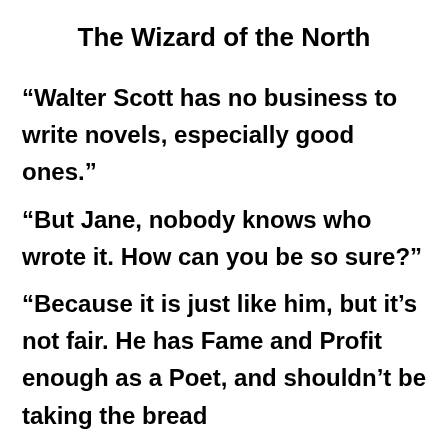The Wizard of the North
“Walter Scott has no business to write novels, especially good ones.”
“But Jane, nobody knows who wrote it. How can you be so sure?”
“Because it is just like him, but it’s not fair. He has Fame and Profit enough as a Poet, and shouldn’t be taking the bread